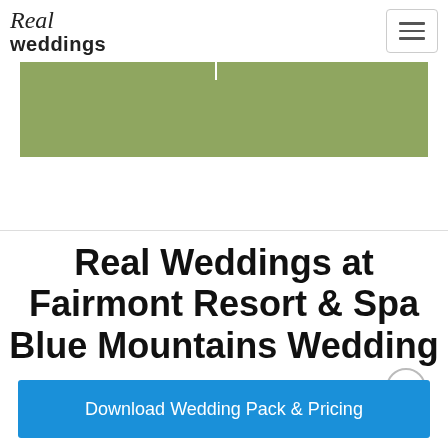Real Weddings
[Figure (other): Green banner/image placeholder at the top of the page below the navigation header]
Real Weddings at Fairmont Resort & Spa Blue Mountains Wedding
Download Wedding Pack & Pricing